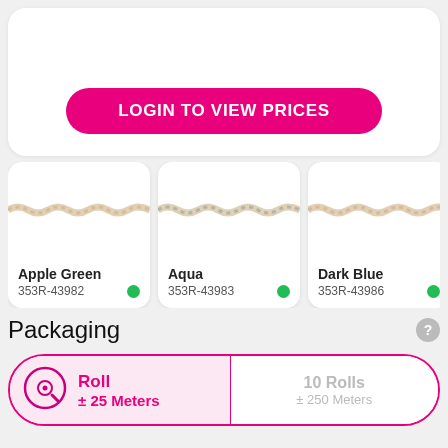[Figure (screenshot): Login to view prices button in a product page UI]
LOGIN TO VIEW PRICES
[Figure (screenshot): Four product color variant cards: Apple Green 353R-43982, Aqua 353R-43983, Dark Blue 353R-43986, Fuchsia 353R-43981, each showing a rope image and green availability dot]
Packaging
Roll ± 25 Meters
10 Rolls ± 250 Meters